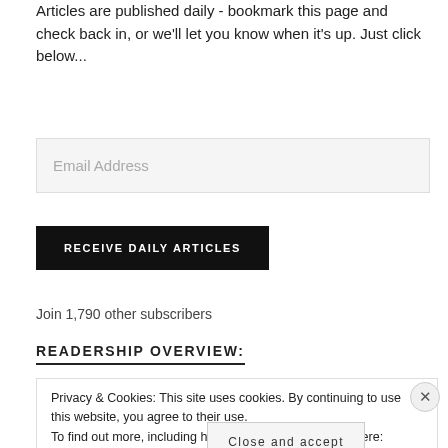Articles are published daily - bookmark this page and check back in, or we'll let you know when it's up. Just click below...
Email Address
RECEIVE DAILY ARTICLES
Join 1,790 other subscribers
READERSHIP OVERVIEW:
Privacy & Cookies: This site uses cookies. By continuing to use this website, you agree to their use.
To find out more, including how to control cookies, see here: Cookie Policy
Close and accept